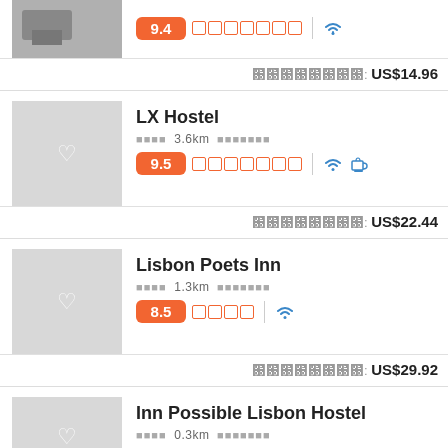[Figure (screenshot): Partial top listing showing score 9.4 with orange stars, wifi icon, and price US$14.96]
LX Hostel
3.6km — Rating 9.5 — US$22.44
Lisbon Poets Inn
1.3km — Rating 8.5 — US$29.92
Inn Possible Lisbon Hostel
0.3km